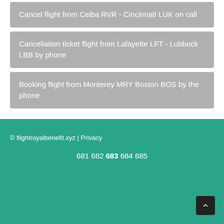Cancel flight from Ceiba RVR - Cincinnati LUK on call
Cancellation ticket flight from Lafayette LFT - Lubbock LBB by phone
Booking flight from Monterey MRY Boston BOS by the phone
© flightroyalbenefit.xyz | Privacy
681 682 683 684 685